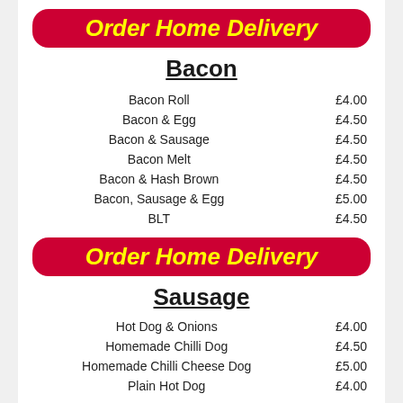Order Home Delivery
Bacon
| Item | Price |
| --- | --- |
| Bacon Roll | £4.00 |
| Bacon & Egg | £4.50 |
| Bacon & Sausage | £4.50 |
| Bacon Melt | £4.50 |
| Bacon & Hash Brown | £4.50 |
| Bacon, Sausage & Egg | £5.00 |
| BLT | £4.50 |
Order Home Delivery
Sausage
| Item | Price |
| --- | --- |
| Hot Dog & Onions | £4.00 |
| Homemade Chilli Dog | £4.50 |
| Homemade Chilli Cheese Dog | £5.00 |
| Plain Hot Dog | £4.00 |